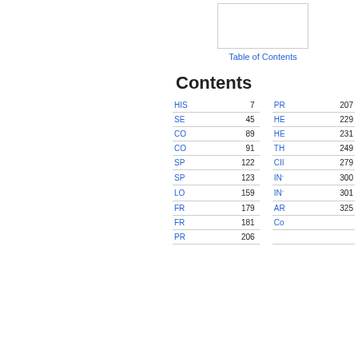[Figure (other): Small rectangular image/thumbnail placeholder in upper right area]
Table of Contents
Contents
| HIS | 7 | PR | 207 |
| SE | 45 | HE | 229 |
| CO | 89 | HE | 231 |
| CO | 91 | TH | 249 |
| SP | 122 | CII | 279 |
| SP | 123 | IN | 300 |
| LO | 159 | IN | 301 |
| FR | 179 | AR | 325 |
| FR | 181 | Co |  |
| PR | 206 |  |  |